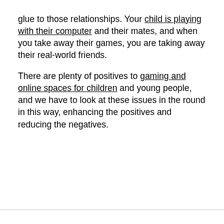glue to those relationships. Your child is playing with their computer and their mates, and when you take away their games, you are taking away their real-world friends.
There are plenty of positives to gaming and online spaces for children and young people, and we have to look at these issues in the round in this way, enhancing the positives and reducing the negatives.